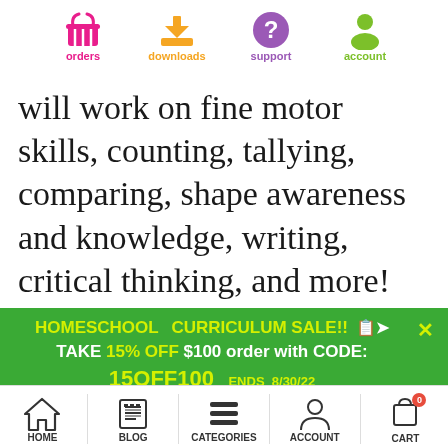[Figure (screenshot): Top navigation bar with icons for orders (pink basket), downloads (orange download arrow), support (purple question mark), account (green person)]
will work on fine motor skills, counting, tallying, comparing, shape awareness and knowledge, writing, critical thinking, and more!
HOMESCHOOL CURRICULUM SALE!! TAKE 15% OFF $100 order with CODE: 15OFF100 ENDS 8/30/22
[Figure (screenshot): Bottom navigation bar with icons for HOME, BLOG, CATEGORIES, ACCOUNT, CART (with badge showing 0)]